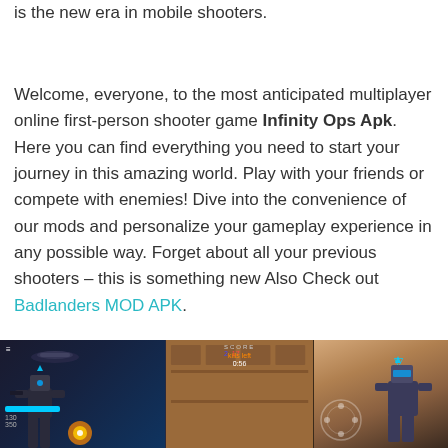is the new era in mobile shooters.
Welcome, everyone, to the most anticipated multiplayer online first-person shooter game Infinity Ops Apk. Here you can find everything you need to start your journey in this amazing world. Play with your friends or compete with enemies! Dive into the convenience of our mods and personalize your gameplay experience in any possible way. Forget about all your previous shooters – this is something new Also Check out Badlanders MOD APK.
[Figure (screenshot): Three-panel screenshot from the mobile game Infinity Ops showing: left panel with a robot soldier in a dark battlefield scene with HUD elements including health bars and ammo count; middle panel showing the Infinity Ops logo/sign in a post-apocalyptic urban environment; right panel showing a mech/robot character with circular UI elements.]